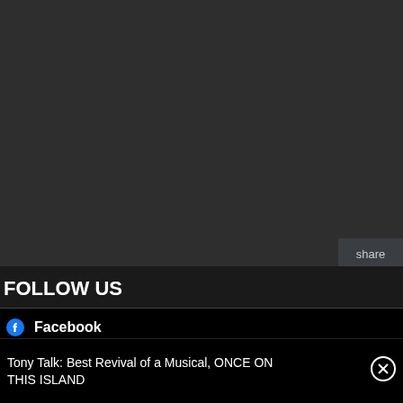[Figure (infographic): Dark grey background panel (social share sidebar) with 'share' label and Twitter and Facebook icon buttons in blue]
FOLLOW US
Facebook
Twitter
Instagram
Tony Talk: Best Revival of a Musical, ONCE ON THIS ISLAND